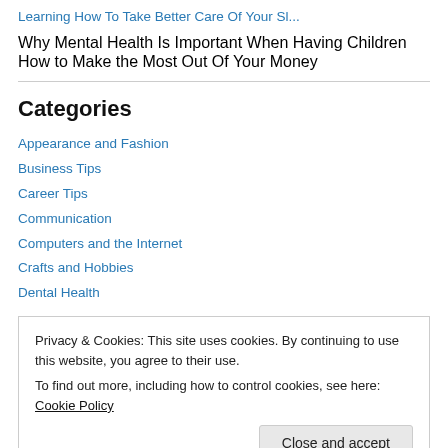Learning How To Take Better Care Of Your Sl...
Why Mental Health Is Important When Having Children
How to Make the Most Out Of Your Money
Categories
Appearance and Fashion
Business Tips
Career Tips
Communication
Computers and the Internet
Crafts and Hobbies
Dental Health
Privacy & Cookies: This site uses cookies. By continuing to use this website, you agree to their use. To find out more, including how to control cookies, see here: Cookie Policy
Health